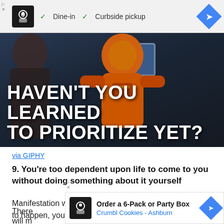[Figure (screenshot): Top advertisement banner showing a restaurant logo with chef icon, checkmarks for Dine-in and Curbside pickup, and a blue navigation arrow diamond icon]
[Figure (photo): Movie or TV still image showing a person in an orange astronaut suit with text overlay: HAVEN'T YOU LEARNED TO PRIORITIZE YET?]
via GIPHY
9. You're too dependent upon life to come to you without doing something about it yourself
Manifestation works when you take the lead. For things to happen, you need to catalyze life a bit. There [ad overlay] vand will m [ad overlay] that
[Figure (screenshot): Bottom advertisement banner: Order a 6-Pack or Party Box, Crumbl Cookies - Ashburn, with blue diamond navigation icon]